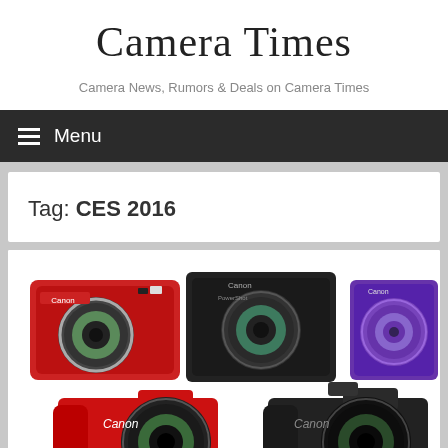Camera Times
Camera News, Rumors & Deals on Camera Times
Menu
Tag: CES 2016
[Figure (photo): Multiple Canon compact digital cameras arranged in two rows: top row shows red, black, and purple Canon compact cameras; bottom row shows a red Canon DSLR-style camera and a black Canon camera.]